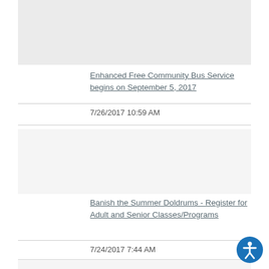[Figure (photo): Gray placeholder image block at top]
Enhanced Free Community Bus Service begins on September 5, 2017
7/26/2017 10:59 AM
[Figure (photo): Gray placeholder image block in middle]
Banish the Summer Doldrums - Register for Adult and Senior Classes/Programs
7/24/2017 7:44 AM
[Figure (illustration): Accessibility icon - person with arms and legs spread in circle]